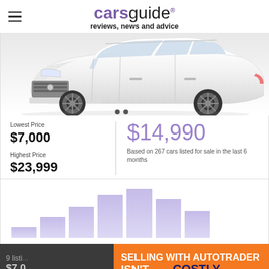carsguide reviews, news and advice
[Figure (photo): Front view of a white SUV car against white background]
Lowest Price
$7,000
Highest Price
$23,999
$14,990
Based on 267 cars listed for sale in the last 6 months
[Figure (histogram): Bar chart showing car price distribution, bars increasing then decreasing across price ranges]
9 listi...
$7,0...
SELLING WITH AUTOTRADER ISN'T COSTLY